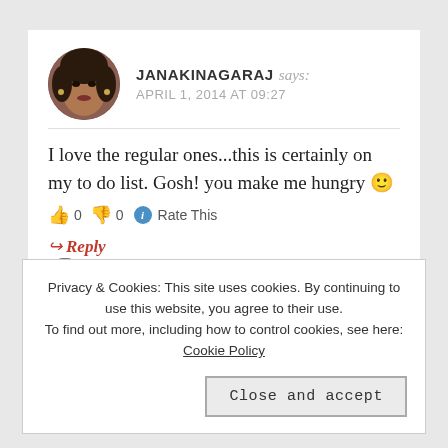JANAKINAGARAJ says: APRIL 1, 2014 AT 09:27
I love the regular ones...this is certainly on my to do list. Gosh! you make me hungry 🙂
👍 0 👎 0 ℹ Rate This
↪ Reply
Privacy & Cookies: This site uses cookies. By continuing to use this website, you agree to their use. To find out more, including how to control cookies, see here: Cookie Policy
Close and accept